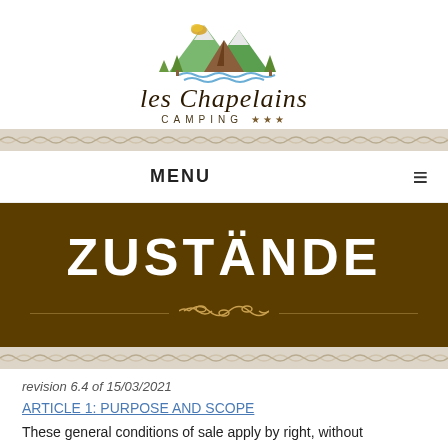[Figure (logo): Les Chapelains Camping logo with mountain tent and trees illustration above the text 'les Chapelains CAMPING ★★★']
[Figure (other): Decorative horizontal band with repeating rope/chain pattern]
MENU ≡
ZUSTÄNDE
[Figure (other): Decorative horizontal band with repeating rope/chain pattern]
revision 6.4 of 15/03/2021
ARTICLE 1: PURPOSE AND SCOPE
These general conditions of sale apply by right, without